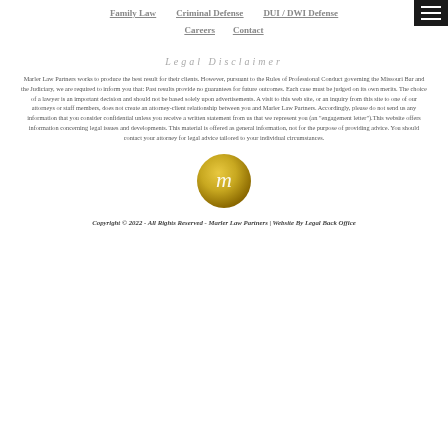Family Law | Criminal Defense | DUI / DWI Defense
Careers | Contact
Legal Disclaimer
Marler Law Partners works to produce the best result for their clients. However, pursuant to the Rules of Professional Conduct governing the Missouri Bar and the Judiciary, we are required to inform you that: Past results provide no guarantees for future outcomes. Each case must be judged on its own merits. The choice of a lawyer is an important decision and should not be based solely upon advertisements. A visit to this web site, or an inquiry from this site to one of our attorneys or staff members, does not create an attorney-client relationship between you and Marler Law Partners. Accordingly, please do not send us any information that you consider confidential unless you receive a written statement from us that we represent you (an "engagement letter").This website offers information concerning legal issues and developments. This material is offered as general information, not for the purpose of providing advice. You should contact your attorney for legal advice tailored to your individual circumstances.
[Figure (logo): Circular gold logo with stylized letter m for Marler Law Partners]
Copyright © 2022 - All Rights Reserved - Marler Law Partners | Website By Legal Back Office